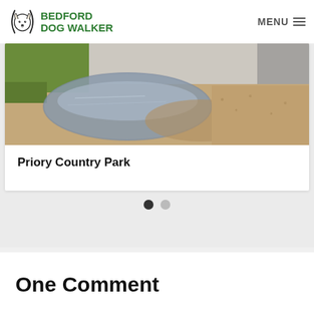BEDFORD DOG WALKER | MENU
[Figure (photo): A large muddy puddle on a sandy/gravel path at Priory Country Park, with grass visible in the upper left and sky reflected in the water]
Priory Country Park
One Comment